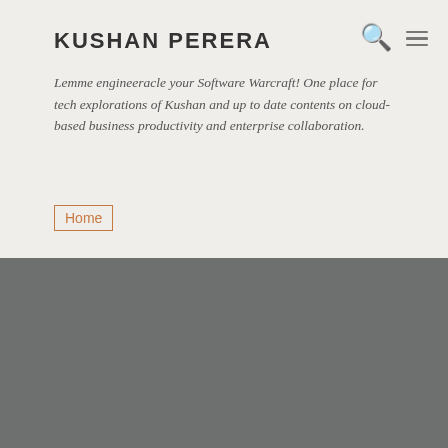KUSHAN PERERA
Lemme engineeracle your Software Warcraft! One place for tech explorations of Kushan and up to date contents on cloud-based business productivity and enterprise collaboration.
Home
🎮 Update -Mortal Kombat X, PES 2019 and 7 more games are coming to Xbox Game Pass in December